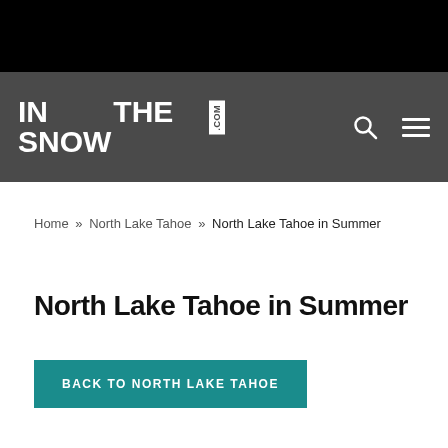INTHESNOW.COM
Home » North Lake Tahoe » North Lake Tahoe in Summer
North Lake Tahoe in Summer
BACK TO NORTH LAKE TAHOE